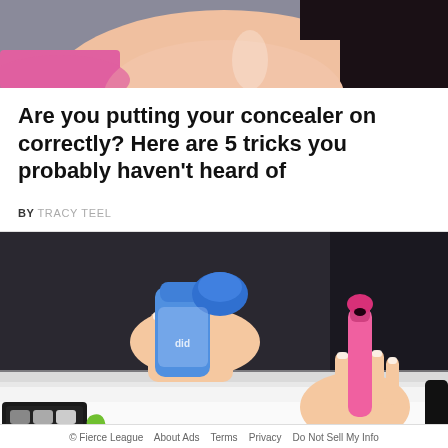[Figure (photo): Cropped photo of a woman's face with dark hair and pink top, visible from chin area only]
Are you putting your concealer on correctly? Here are 5 tricks you probably haven't heard of
BY TRACY TEEL
[Figure (photo): Photo of hands holding a blue bottle and pink concealer tube over a white table surface, with a green mascara wand and eyeshadow palette nearby]
© Fierce League   About Ads   Terms   Privacy   Do Not Sell My Info